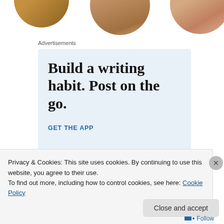[Figure (photo): Three cropped circular profile photos partially visible at the top of the page]
Advertisements
[Figure (infographic): Advertisement banner with light blue background reading 'Build a writing habit. Post on the go.' with 'GET THE APP' call to action and WordPress logo]
Privacy & Cookies: This site uses cookies. By continuing to use this website, you agree to their use.
To find out more, including how to control cookies, see here: Cookie Policy